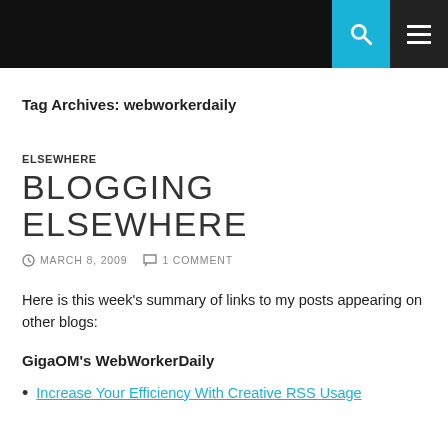[Navigation bar with search and menu icons]
Tag Archives: webworkerdaily
ELSEWHERE
BLOGGING ELSEWHERE
MARCH 8, 2009   1 COMMENT
Here is this week's summary of links to my posts appearing on other blogs:
GigaOM's WebWorkerDaily
Increase Your Efficiency With Creative RSS Usage